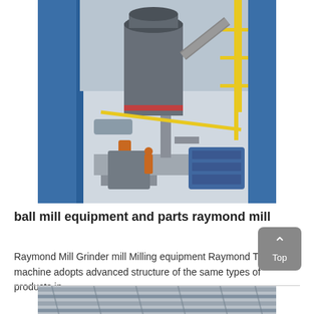[Figure (photo): Industrial Raymond mill / ball mill equipment installed in a large industrial facility. The image shows a large grey cylindrical grinding mill tower with associated piping, machinery components, blue structural supports on the left, yellow scaffolding/railings on the right, and additional blue industrial machinery at the bottom right. A worker in orange is visible near the base.]
ball mill equipment and parts raymond mill
Raymond Mill Grinder mill Milling equipment Raymond This machine adopts advanced structure of the same types of products in
[Figure (photo): Partial view of industrial equipment, appears to be steel bars or rods in an industrial setting, partially visible at the bottom of the page.]